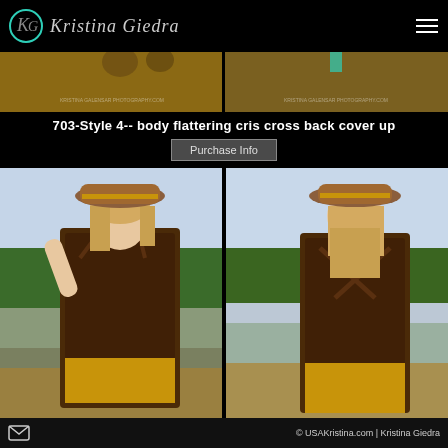Kristina Giedra
[Figure (photo): Cropped top portion of two side-by-side fashion photos showing detail of poses with watermark text]
703-Style 4-- body flattering cris cross back cover up
Purchase Info
[Figure (photo): Two side-by-side photos of a blonde woman wearing a brown patterned sleeveless dress with cris-cross back straps and a yellow wide-brim hat, posing outdoors by a waterside. Left photo shows front view, right photo shows back view revealing the cross-back strap detail.]
© USAKristina.com | Kristina Giedra